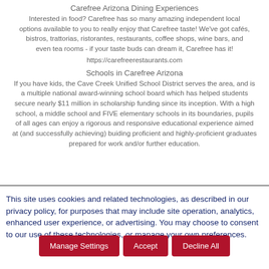Carefree Arizona Dining Experiences
Interested in food? Carefree has so many amazing independent local options available to you to really enjoy that Carefree taste! We've got cafés, bistros, trattorias, ristorantes, restaurants, coffee shops, wine bars, and even tea rooms - if your taste buds can dream it, Carefree has it! https://carefreerestaurants.com
Schools in Carefree Arizona
If you have kids, the Cave Creek Unified School District serves the area, and is a multiple national award-winning school board which has helped students secure nearly $11 million in scholarship funding since its inception. With a high school, a middle school and FIVE elementary schools in its boundaries, pupils of all ages can enjoy a rigorous and responsive educational experience aimed at (and successfully achieving) buiding proficient and highly-proficient graduates prepared for work and/or further education.
This site uses cookies and related technologies, as described in our privacy policy, for purposes that may include site operation, analytics, enhanced user experience, or advertising. You may choose to consent to our use of these technologies, or manage your own preferences.